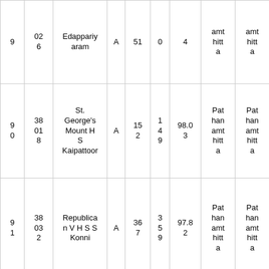| 9 | 026 | Edappari­yaram | A | 51 | 0 | 4 | amt hitta | amt hitta |
| 90 | 3801 8 | St. George's Mount H S Kaipattoor | A | 152 | 149 | 98.03 | Pathan amt hitta | Pathan amt hitta |
| 91 | 3803 2 | Republican V H S S Konni | A | 367 | 359 | 97.82 | Pathan amt hitta | Pathan amt hitta |
| 9 | 38 | St. George V |  |  | 4 | 97.7 | Pathan | Pathan |